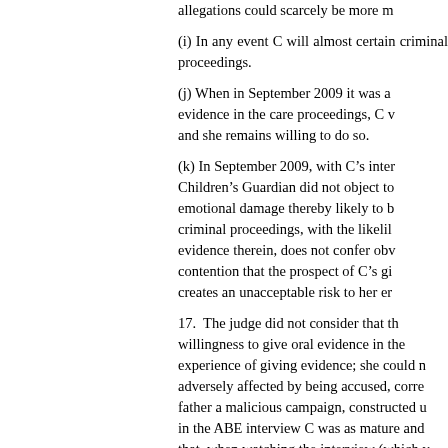allegations could scarcely be more m...
(i) In any event C will almost certain... criminal proceedings.
(j) When in September 2009 it was a... evidence in the care proceedings, C w... and she remains willing to do so.
(k) In September 2009, with C’s inter... Children’s Guardian did not object to... emotional damage thereby likely to b... criminal proceedings, with the likeli... evidence therein, does not confer obv... contention that the prospect of C’s gi... creates an unacceptable risk to her er...
17.  The judge did not consider that th... willingness to give oral evidence in the... experience of giving evidence; she could n... adversely affected by being accused, corre... father a malicious campaign, constructed u... in the ABE interview C was as mature an... that, when watching the interview (which v... occasions C needed to leave the room on... and that, towards the end, she indicated... Largely, however, the judge accepted the v... upon her by Mr Geekie.